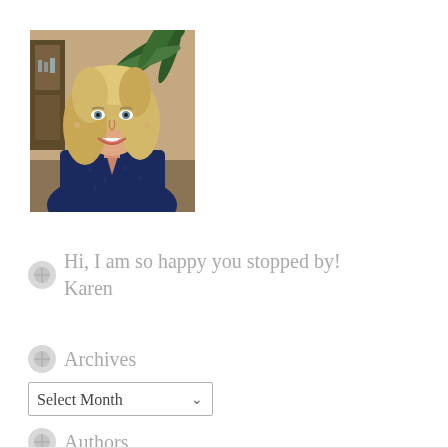[Figure (photo): Portrait photo of a smiling blonde woman in a navy blue top, seated in an indoor setting with greenery in the background.]
Hi, I am so happy you stopped by! Karen
Archives
Select Month
Authors